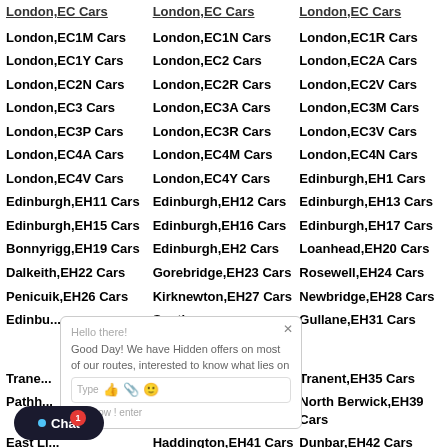London,EC1M Cars | London,EC1N Cars | London,EC1R Cars
London,EC1Y Cars | London,EC2 Cars | London,EC2A Cars
London,EC2N Cars | London,EC2R Cars | London,EC2V Cars
London,EC3 Cars | London,EC3A Cars | London,EC3M Cars
London,EC3P Cars | London,EC3R Cars | London,EC3V Cars
London,EC4A Cars | London,EC4M Cars | London,EC4N Cars
London,EC4V Cars | London,EC4Y Cars | Edinburgh,EH1 Cars
Edinburgh,EH11 Cars | Edinburgh,EH12 Cars | Edinburgh,EH13 Cars
Edinburgh,EH15 Cars | Edinburgh,EH16 Cars | Edinburgh,EH17 Cars
Bonnyrigg,EH19 Cars | Edinburgh,EH2 Cars | Loanhead,EH20 Cars
Dalkeith,EH22 Cars | Gorebridge,EH23 Cars | Rosewell,EH24 Cars
Penicuik,EH26 Cars | Kirknewton,EH27 Cars | Newbridge,EH28 Cars
Edinburgh,EH29 Cars | South Queensferry,EH30 Cars | Gullane,EH31 Cars
Tranent,EH33 Cars | Tranent,EH34 Cars | Tranent,EH35 Cars
Pathhead,EH37 Cars | Heriot,EH38 Cars | North Berwick,EH39 Cars
East Linton,EH40 Cars | Haddington,EH41 Cars | Dunbar,EH42 Cars
Innerleith,EH44 Cars | Peebles,EH45 Cars | West Linton,EH46 Cars
Bathgate,EH48 Cars | Linlithgow,EH49 Cars | Edinburgh,EH5 Cars